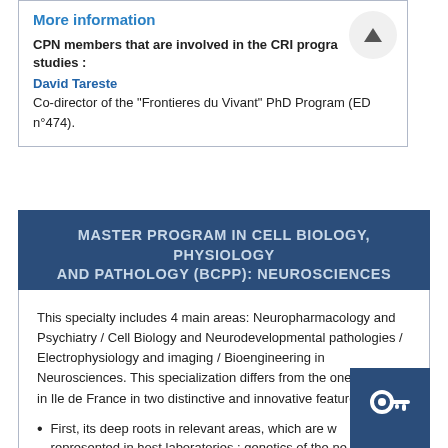More information
CPN members that are involved in the CRI program studies :
David Tareste
Co-director of the "Frontieres du Vivant" PhD Program (ED n°474).
MASTER PROGRAM IN CELL BIOLOGY, PHYSIOLOGY AND PATHOLOGY (BCPP): NEUROSCIENCES
This specialty includes 4 main areas: Neuropharmacology and Psychiatry / Cell Biology and Neurodevelopmental pathologies / Electrophysiology and imaging / Bioengineering in Neurosciences. This specialization differs from the one existing in Ile de France in two distinctive and innovative features:
First, its deep roots in relevant areas, which are well represented in host laboratories : genetics of the ne...